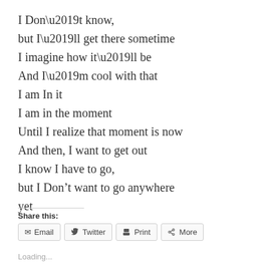I Don’t know,
but I’ll get there sometime
I imagine how it’ll be
And I’m cool with that
I am In it
I am in the moment
Until I realize that moment is now
And then, I want to get out
I know I have to go,
but I Don’t want to go anywhere
yet
Share this:
Email  Twitter  Print  More
Loading...